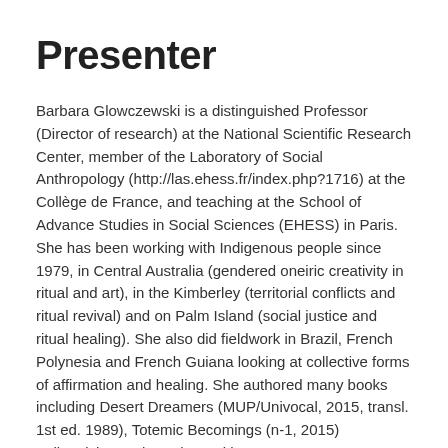Presenter
Barbara Glowczewski is a distinguished Professor (Director of research) at the National Scientific Research Center, member of the Laboratory of Social Anthropology (http://las.ehess.fr/index.php?1716) at the Collège de France, and teaching at the School of Advance Studies in Social Sciences (EHESS) in Paris. She has been working with Indigenous people since 1979, in Central Australia (gendered oneiric creativity in ritual and art), in the Kimberley (territorial conflicts and ritual revival) and on Palm Island (social justice and ritual healing). She also did fieldwork in Brazil, French Polynesia and French Guiana looking at collective forms of affirmation and healing. She authored many books including Desert Dreamers (MUP/Univocal, 2015, transl. 1st ed. 1989), Totemic Becomings (n-1, 2015) Indigenising Anthropology with